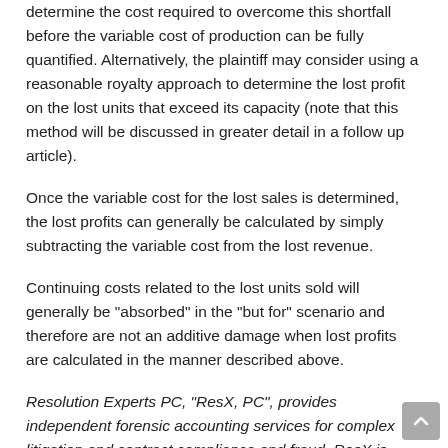determine the cost required to overcome this shortfall before the variable cost of production can be fully quantified. Alternatively, the plaintiff may consider using a reasonable royalty approach to determine the lost profit on the lost units that exceed its capacity (note that this method will be discussed in greater detail in a follow up article).
Once the variable cost for the lost sales is determined, the lost profits can generally be calculated by simply subtracting the variable cost from the lost revenue.
Continuing costs related to the lost units sold will generally be "absorbed" in the "but for" scenario and therefore are not an additive damage when lost profits are calculated in the manner described above.
Resolution Experts PC, "ResX, PC", provides independent forensic accounting services for complex litigation and contract compliance and fraud. ResX is based in Michigan and serves clients throughout the United States. For more